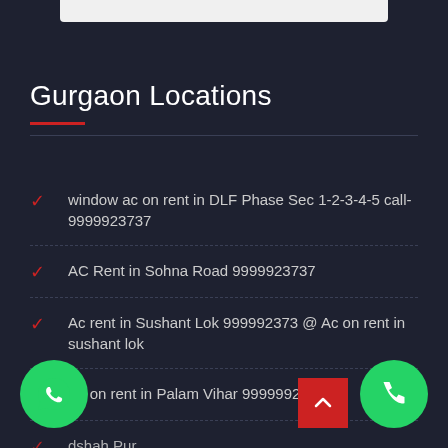Gurgaon Locations
window ac on rent in DLF Phase Sec 1-2-3-4-5 call-9999923737
AC Rent in Sohna Road 9999923737
Ac rent in Sushant Lok 999992373 @ Ac on rent in sushant lok
Ac on rent in Palam Vihar 99999923737
dshah Pur
ow ac on rent in gurugram call 9999923737